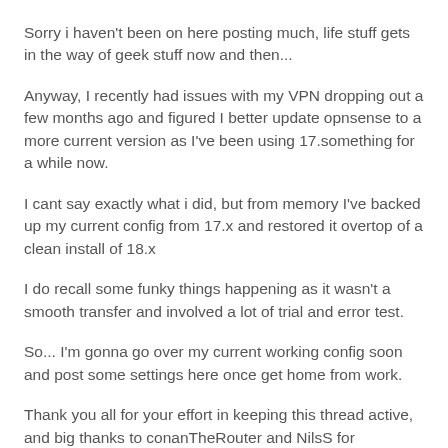Sorry i haven't been on here posting much, life stuff gets in the way of geek stuff now and then...
Anyway, I recently had issues with my VPN dropping out a few months ago and figured I better update opnsense to a more current version as I've been using 17.something for a while now.
I cant say exactly what i did, but from memory I've backed up my current config from 17.x and restored it overtop of a clean install of 18.x
I do recall some funky things happening as it wasn't a smooth transfer and involved a lot of trial and error test.
So... I'm gonna go over my current working config soon and post some settings here once get home from work.
Thank you all for your effort in keeping this thread active, and big thanks to conanTheRouter and NilsS for maintaining my How-To and adding some cool functions.
Keep you all posted soon with config updates 🙂